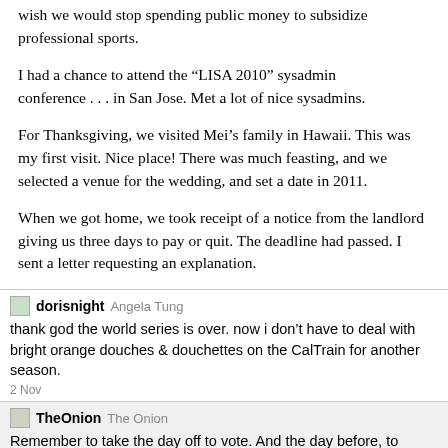wish we would stop spending public money to subsidize professional sports.
I had a chance to attend the “LISA 2010” sysadmin conference . . . in San Jose. Met a lot of nice sysadmins.
For Thanksgiving, we visited Mei’s family in Hawaii. This was my first visit. Nice place! There was much feasting, and we selected a venue for the wedding, and set a date in 2011.
When we got home, we took receipt of a notice from the landlord giving us three days to pay or quit. The deadline had passed. I sent a letter requesting an explanation.
Angela Tung  dorisnight  Angela Tung
thank god the world series is over. now i don’t have to deal with bright orange douches & douchettes on the CalTrain for another season.
2 Nov
The Onion  TheOnion  The Onion
Remember to take the day off to vote. And the day before, to psyche up. And the morning after, to dry out. #OnionVoteTip #Election
2 Nov
Mike Monteiro  Mike_FTW  Mike Monteiro